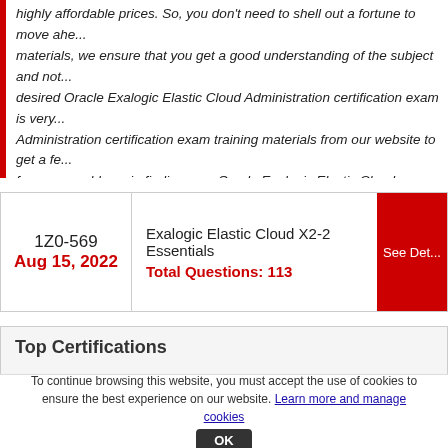highly affordable prices. So, you don't need to shell out a fortune to move ahead. materials, we ensure that you get a good understanding of the subject and not... desired Oracle Exalogic Elastic Cloud Administration certification exam is very... Administration certification exam training materials from our website to get a fe... face any problems in finding your Oracle Exalogic Elastic Cloud Administration...
| Exam Code / Date | Exam Title / Questions | Action |
| --- | --- | --- |
| 1Z0-569
Aug 15, 2022 | Exalogic Elastic Cloud X2-2 Essentials
Total Questions: 113 | See Det... |
Top Certifications
Checkpoint Certified Security Administrator | Certified Ethical Hacker
HP Accredited Integration Specialist Certification | Juniper Networks Cert...
To continue browsing this website, you must accept the use of cookies to ensure the best experience on our website. Learn more and manage cookies OK